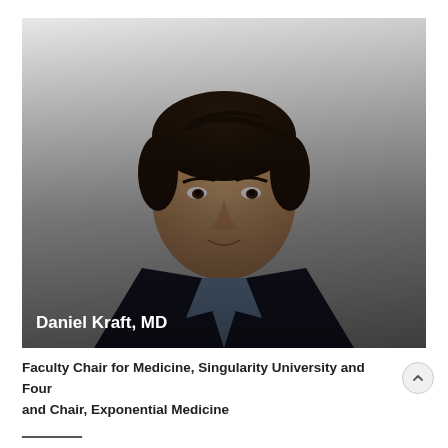[Figure (photo): Headshot photo of Daniel Kraft, MD — a man with dark hair wearing a dark blazer over a light blue collared shirt, photographed against a light grey/white background. His name 'Daniel Kraft, MD' appears as white bold text overlaid at the bottom left of the photo.]
Faculty Chair for Medicine, Singularity University and Four and Chair, Exponential Medicine